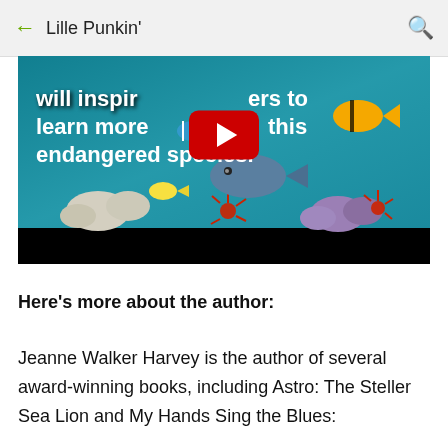← Lille Punkin'
[Figure (screenshot): YouTube video thumbnail showing an underwater coral reef scene with tropical fish. Overlaid white bold text reads: 'will inspire readers to learn more about this endangered species.' A red YouTube play button is centered on the video. A black progress bar is at the bottom.]
Here's more about the author:
Jeanne Walker Harvey is the author of several award-winning books, including Astro: The Steller Sea Lion and My Hands Sing the Blues: